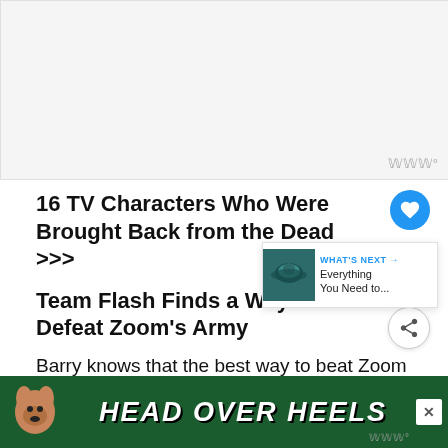[Figure (other): Advertisement placeholder banner at top of page, light gray background with moat watermark]
16 TV Characters Who Were Brought Back from the Dead >>>
Team Flash Finds a Way to Defeat Zoom's Army
Barry knows that the best way to beat Zoom is
[Figure (other): WHAT'S NEXT widget with thumbnail image of swimmer, text: Everything You Need to...]
[Figure (other): Bottom advertisement banner: HEAD OVER HEELS with dog mascot on green background]